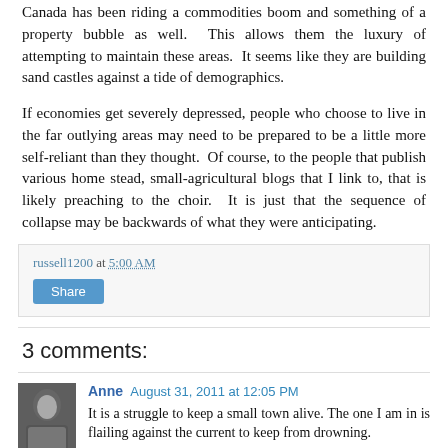Canada has been riding a commodities boom and something of a property bubble as well. This allows them the luxury of attempting to maintain these areas. It seems like they are building sand castles against a tide of demographics.
If economies get severely depressed, people who choose to live in the far outlying areas may need to be prepared to be a little more self-reliant than they thought. Of course, to the people that publish various home stead, small-agricultural blogs that I link to, that is likely preaching to the choir. It is just that the sequence of collapse may be backwards of what they were anticipating.
russell1200 at 5:00 AM
Share
3 comments:
Anne  August 31, 2011 at 12:05 PM
It is a struggle to keep a small town alive. The one I am in is flailing against the current to keep from drowning.